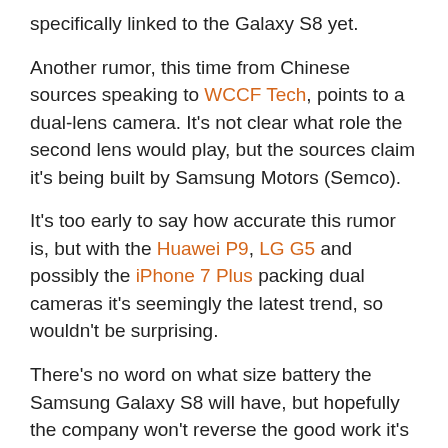specifically linked to the Galaxy S8 yet.
Another rumor, this time from Chinese sources speaking to WCCF Tech, points to a dual-lens camera. It's not clear what role the second lens would play, but the sources claim it's being built by Samsung Motors (Semco).
It's too early to say how accurate this rumor is, but with the Huawei P9, LG G5 and possibly the iPhone 7 Plus packing dual cameras it's seemingly the latest trend, so wouldn't be surprising.
There's no word on what size battery the Samsung Galaxy S8 will have, but hopefully the company won't reverse the good work it's done on the S7, which has better life than the S6 before it.
The Galaxy S7 has a 3000mAh juice pack and with any luck the battery in the S8 will be even larger, or